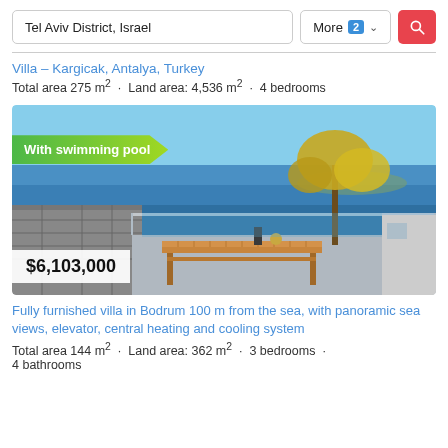Tel Aviv District, Israel | More 2 | Search
Villa – Kargicak, Antalya, Turkey
Total area 275 m² · Land area: 4,536 m² · 4 bedrooms
[Figure (photo): Luxury villa property photo showing outdoor terrace with wooden dining table, stone wall, glass railing, yellow flowering trees, and panoramic blue sea view in background. Green badge reads 'With swimming pool'. Price badge shows $6,103,000.]
Fully furnished villa in Bodrum 100 m from the sea, with panoramic sea views, elevator, central heating and cooling system
Total area 144 m² · Land area: 362 m² · 3 bedrooms · 4 bathrooms